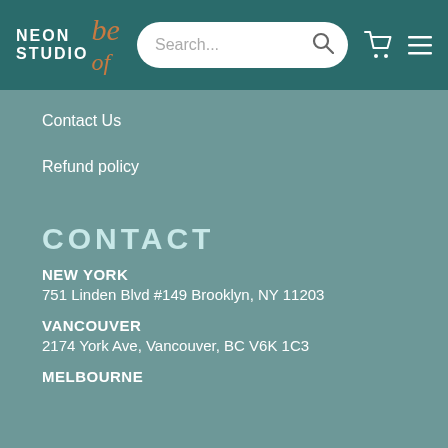Neon Studio — header with search bar, cart and menu icons
Contact Us
Refund policy
CONTACT
NEW YORK
751 Linden Blvd #149 Brooklyn, NY 11203
VANCOUVER
2174 York Ave, Vancouver, BC V6K 1C3
MELBOURNE